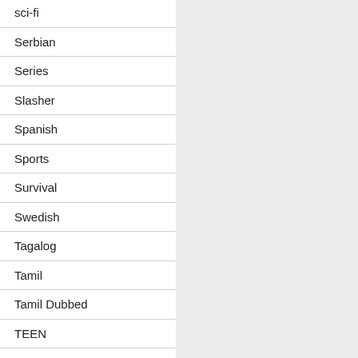sci-fi
Serbian
Series
Slasher
Spanish
Sports
Survival
Swedish
Tagalog
Tamil
Tamil Dubbed
TEEN
Telugu
Telugu Dubbed (VO)